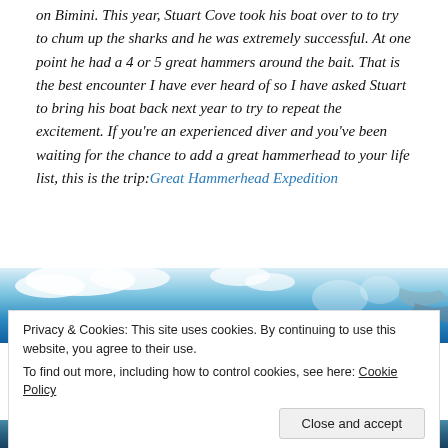on Bimini. This year, Stuart Cove took his boat over to to try to chum up the sharks and he was extremely successful. At one point he had a 4 or 5 great hammers around the bait. That is the best encounter I have ever heard of so I have asked Stuart to bring his boat back next year to try to repeat the excitement. If you're an experienced diver and you've been waiting for the chance to add a great hammerhead to your life list, this is the trip: Great Hammerhead Expedition
[Figure (photo): Underwater/ocean scene showing a blue ocean background with clouds or light reflections visible, partial view of what appears to be a shark or underwater creature at right edge]
Privacy & Cookies: This site uses cookies. By continuing to use this website, you agree to their use.
To find out more, including how to control cookies, see here: Cookie Policy
[Figure (photo): Bottom strip showing ocean/underwater scene in dark blue tones]